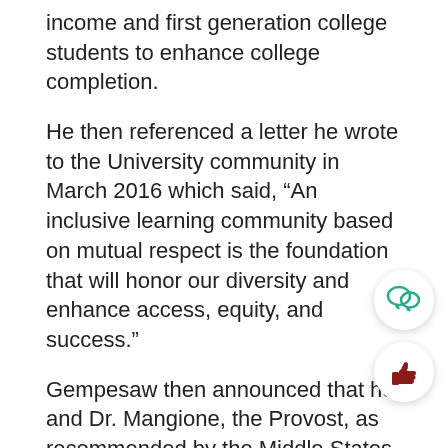income and first generation college students to enhance college completion.
He then referenced a letter he wrote to the University community in March 2016 which said, “An inclusive learning community based on mutual respect is the foundation that will honor our diversity and enhance access, equity, and success.”
Gempesaw then announced that he and Dr. Mangione, the Provost, as recommended by the Middle States Accreditation Review Team, will be introducing a new working group, directed by Nada Llewellyn, Chief Diversity Officer, in order to make this a major strategic action step.
Gempesaw concluded the State of the University Address by saying, “As an immigrant and a pers of color, I can honestly tell you that I know how it
[Figure (illustration): Chat bubble icon in teal/green color inside a white circular button with shadow, positioned bottom-right]
[Figure (illustration): Thumbs up icon in dark red/maroon color inside a white circular button with shadow, positioned bottom-right below chat icon]